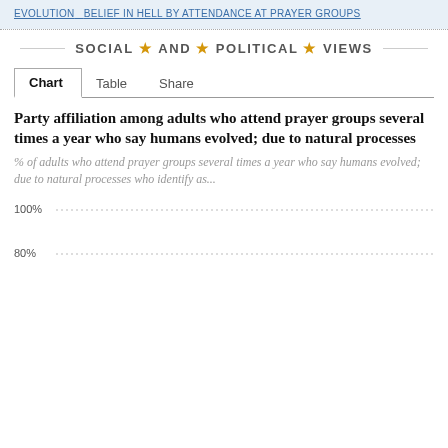EVOLUTION  BELIEF IN HELL BY ATTENDANCE AT PRAYER GROUPS
SOCIAL AND POLITICAL VIEWS
Chart  Table  Share
Party affiliation among adults who attend prayer groups several times a year who say humans evolved; due to natural processes
% of adults who attend prayer groups several times a year who say humans evolved; due to natural processes who identify as...
[Figure (bar-chart): Partially visible bar chart with y-axis showing 100% and 80% gridlines; bars not fully visible]